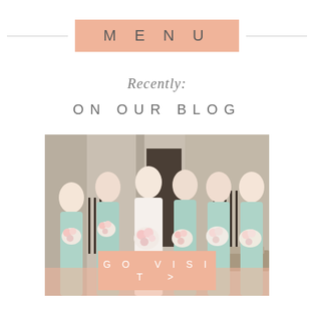MENU
Recently:
ON OUR BLOG
[Figure (photo): Bride in white gown with five bridesmaids in mint/sage green dresses, all holding white and pink floral bouquets, standing in front of a stone building]
GO VISIT >